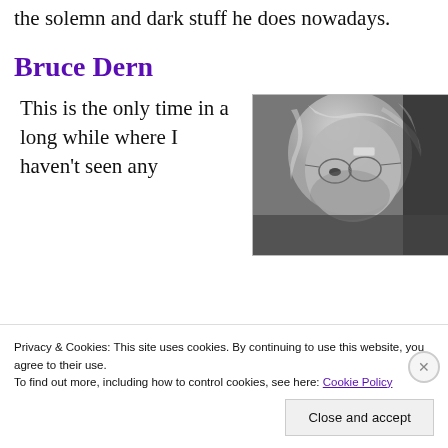the solemn and dark stuff he does nowadays.
Bruce Dern
This is the only time in a long while where I haven't seen any
[Figure (photo): Black and white close-up photo of Bruce Dern, an elderly man with light hair, wearing glasses, looking downward.]
Privacy & Cookies: This site uses cookies. By continuing to use this website, you agree to their use.
To find out more, including how to control cookies, see here: Cookie Policy
Close and accept